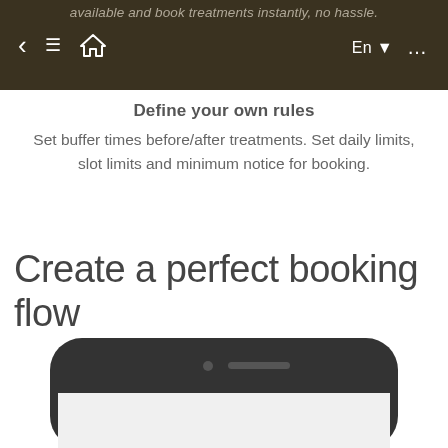available and book treatments instantly, no hassle.
Define your own rules
Set buffer times before/after treatments. Set daily limits, slot limits and minimum notice for booking.
Create a perfect booking flow
[Figure (illustration): Top portion of a smartphone device shown from above, with dark rounded frame, camera and speaker visible at the top of the screen area.]